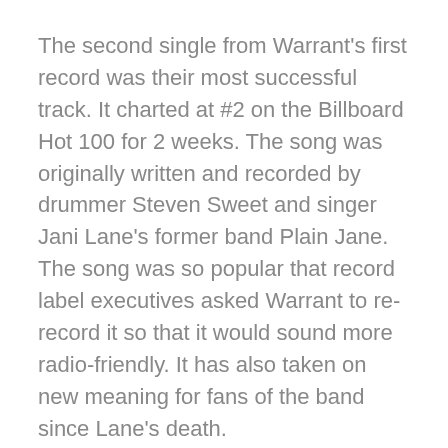The second single from Warrant's first record was their most successful track. It charted at #2 on the Billboard Hot 100 for 2 weeks. The song was originally written and recorded by drummer Steven Sweet and singer Jani Lane's former band Plain Jane. The song was so popular that record label executives asked Warrant to re-record it so that it would sound more radio-friendly. It has also taken on new meaning for fans of the band since Lane's death.